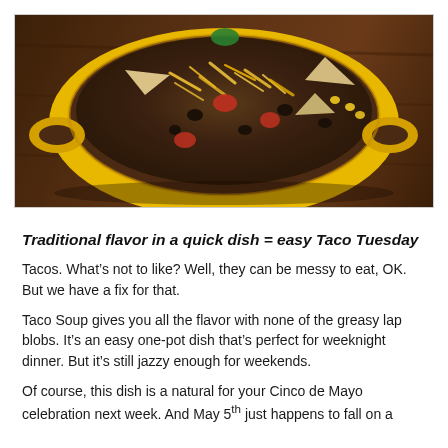[Figure (photo): A yellow ceramic bowl filled with taco soup, topped with shredded cheese, tortilla chips, black beans, tomatoes, corn, and other toppings, placed on a wooden surface.]
Traditional flavor in a quick dish = easy Taco Tuesday
Tacos. What’s not to like? Well, they can be messy to eat, OK. But we have a fix for that.
Taco Soup gives you all the flavor with none of the greasy lap blobs. It’s an easy one-pot dish that’s perfect for weeknight dinner. But it’s still jazzy enough for weekends.
Of course, this dish is a natural for your Cinco de Mayo celebration next week. And May 5th just happens to fall on a